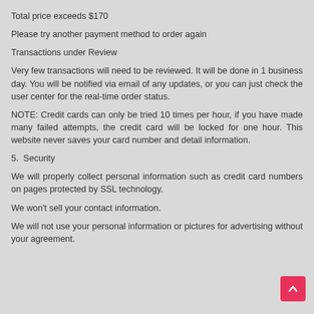Total price exceeds $170
Please try another payment method to order again
Transactions under Review
Very few transactions will need to be reviewed. It will be done in 1 business day. You will be notified via email of any updates, or you can just check the user center for the real-time order status.
NOTE: Credit cards can only be tried 10 times per hour, if you have made many failed attempts, the credit card will be locked for one hour. This website never saves your card number and detail information.
5.  Security
We will properly collect personal information such as credit card numbers on pages protected by SSL technology.
We won't sell your contact information.
We will not use your personal information or pictures for advertising without your agreement.